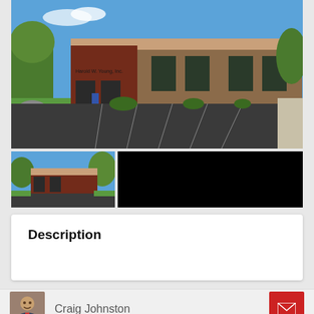[Figure (photo): Main exterior photo of a commercial brick building (Harold W. Young, Inc.) with parking lot, blue sky, and trees]
[Figure (photo): Smaller thumbnail photo of the same commercial building from a different angle, with black panel beside it]
Description
[Figure (photo): Headshot photo of Craig Johnston, real estate agent]
Craig Johnston